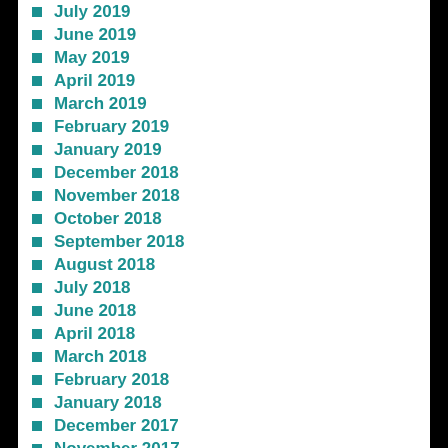July 2019
June 2019
May 2019
April 2019
March 2019
February 2019
January 2019
December 2018
November 2018
October 2018
September 2018
August 2018
July 2018
June 2018
April 2018
March 2018
February 2018
January 2018
December 2017
November 2017
August 2017
July 2017